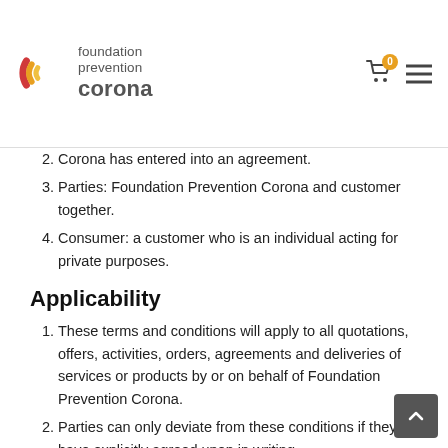foundation prevention corona
Corona has entered into an agreement.
Parties: Foundation Prevention Corona and customer together.
Consumer: a customer who is an individual acting for private purposes.
Applicability
These terms and conditions will apply to all quotations, offers, activities, orders, agreements and deliveries of services or products by or on behalf of Foundation Prevention Corona.
Parties can only deviate from these conditions if they have explicitly agreed upon in writing.